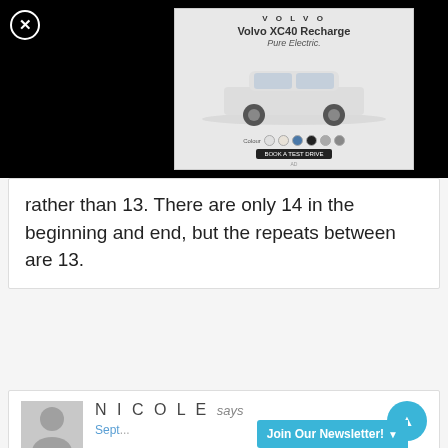[Figure (screenshot): Black overlay background covering top portion of page with close button (circled X) in top left]
[Figure (screenshot): Volvo XC40 Recharge Pure Electric advertisement showing car with color swatches and call-to-action button]
rather than 13. There are only 14 in the beginning and end, but the repeats between are 13.
[Figure (screenshot): User avatar placeholder image (gray rectangle with circle silhouette)]
NICOLE says
Sept...
Join Our Newsletter!